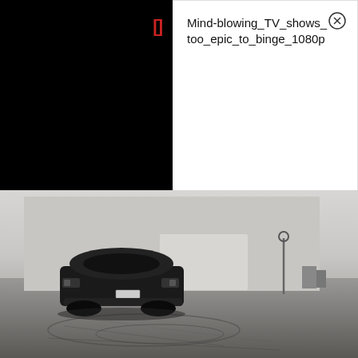[Figure (screenshot): UI overlay on a black thumbnail area showing a red bracket icon '[]' and a white info panel with the title 'Mind-blowing_TV_shows_too_epic_to_binge_1080p' and a close (X) button]
[Figure (photo): Black and white photograph of a muscle car (rear view, appears to be a Dodge Challenger) parked on a large flat surface with tire marks, in front of a plain industrial wall, with a sign post visible in the distance]